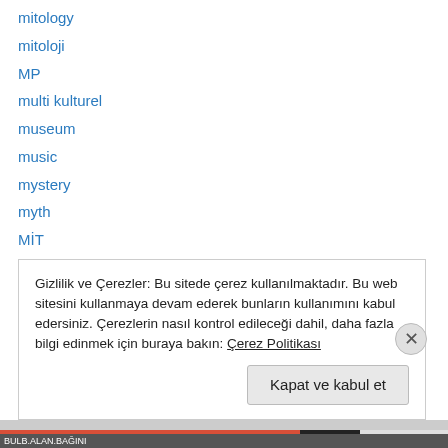mitology
mitoloji
MP
multi kulturel
museum
music
mystery
myth
MİT
nationalism
nationalismen
nationella utbildningen
nazizm
Gizlilik ve Çerezler: Bu sitede çerez kullanılmaktadır. Bu web sitesini kullanmaya devam ederek bunların kullanımını kabul edersiniz. Çerezlerin nasıl kontrol edileceği dahil, daha fazla bilgi edinmek için buraya bakın: Çerez Politikası
Kapat ve kabul et